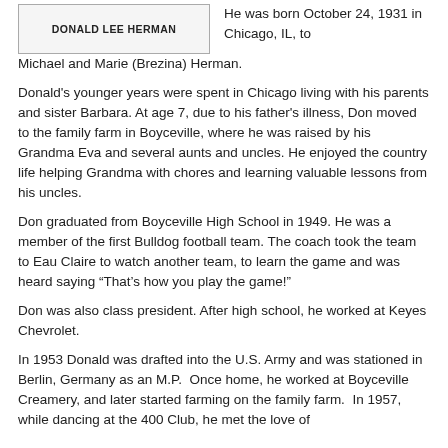DONALD LEE HERMAN
He was born October 24, 1931 in Chicago, IL, to Michael and Marie (Brezina) Herman.
Donald's younger years were spent in Chicago living with his parents and sister Barbara. At age 7, due to his father's illness, Don moved to the family farm in Boyceville, where he was raised by his Grandma Eva and several aunts and uncles. He enjoyed the country life helping Grandma with chores and learning valuable lessons from his uncles.
Don graduated from Boyceville High School in 1949. He was a member of the first Bulldog football team. The coach took the team to Eau Claire to watch another team, to learn the game and was heard saying “That’s how you play the game!”
Don was also class president. After high school, he worked at Keyes Chevrolet.
In 1953 Donald was drafted into the U.S. Army and was stationed in Berlin, Germany as an M.P.  Once home, he worked at Boyceville Creamery, and later started farming on the family farm.  In 1957, while dancing at the 400 Club, he met the love of